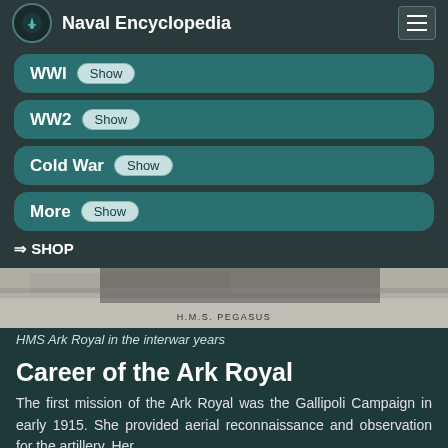Naval Encyclopedia
WWI Show
WW2 Show
Cold War Show
More Show
⇒ SHOP
[Figure (photo): Historical photograph of HMS Pegasus ship]
HMS Ark Royal in the interwar years
Career of the Ark Royal
The first mission of the Ark Royal was the Gallipoli Campaign in early 1915. She provided aerial reconnaissance and observation for the artillery. Her